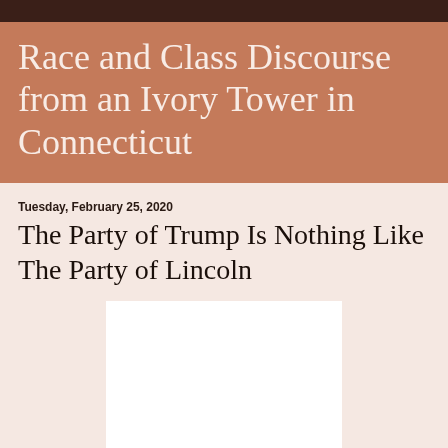Race and Class Discourse from an Ivory Tower in Connecticut
Tuesday, February 25, 2020
The Party of Trump Is Nothing Like The Party of Lincoln
[Figure (photo): Blank white image placeholder in the article body]